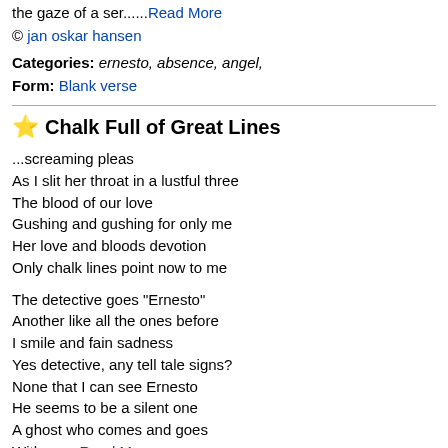the gaze of a ser......Read More
© jan oskar hansen
Categories: ernesto, absence, angel, Form: Blank verse
Chalk Full of Great Lines
...screaming pleas
As I slit her throat in a lustful three
The blood of our love
Gushing and gushing for only me
Her love and bloods devotion
Only chalk lines point now to me

The detective goes "Ernesto"
Another like all the ones before
I smile and fain sadness
Yes detective, any tell tale signs?
None that I can see Ernesto
He seems to be a silent one
A ghost who comes and goes
With n......Read More